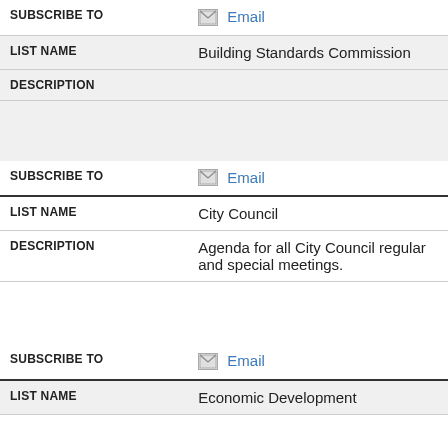| SUBSCRIBE TO | Email (checkbox icon) |
| LIST NAME | Building Standards Commission |
| DESCRIPTION |  |
| SUBSCRIBE TO | Email (checkbox icon) |
| LIST NAME | City Council |
| DESCRIPTION | Agenda for all City Council regular and special meetings. |
| SUBSCRIBE TO | Email (checkbox icon) |
| LIST NAME | Economic Development |